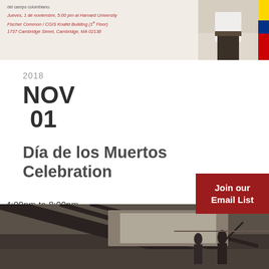[Figure (photo): Top banner with event flyer text in Spanish on a light background, with a partial photo of a person in white shirt on the right side with a Colombian flag stripe]
2018
NOV
01
Día de los Muertos Celebration
4:00pm to 8:00pm
Location: Peabody Museum of Archaeology & Ethnology, 11 Divinity Avenue, Cambridge
[Figure (photo): Interior of the Peabody Museum of Archaeology & Ethnology showing dark architectural beams and two figure sculptures/statues in the lower right area]
Join our Email List